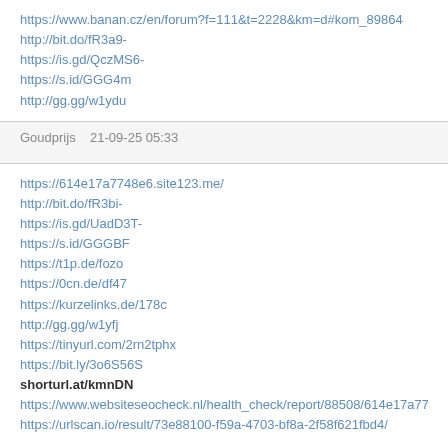https://www.banan.cz/en/forum?f=111&t=2228&km=d#kom_89864
http://bit.do/fR3a9-
https://is.gd/QczMS6-
https://s.id/GGG4m
http://gg.gg/w1ydu
Goudprijs   21-09-25 05:33
https://614e17a7748e6.site123.me/
http://bit.do/fR3bi-
https://is.gd/UadD3T-
https://s.id/GGGBF
https://t1p.de/fozo
https://0cn.de/df47
https://kurzelinks.de/178c
http://gg.gg/w1yfj
https://tinyurl.com/2rn2tphx
https://bit.ly/3o6S56S
shorturl.at/kmnDN
https://www.websiteseocheck.nl/health_check/report/88508/614e17a7748e6.site12...
https://urlscan.io/result/73e88100-f59a-4703-bf8a-2f58f621fbd4/